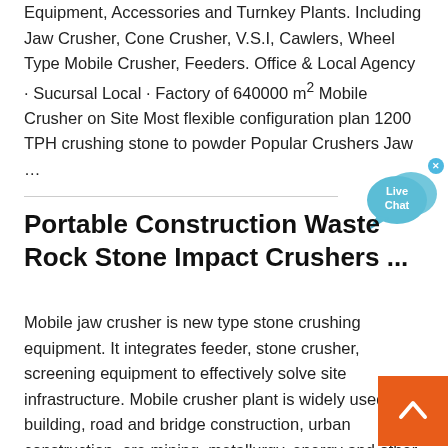Equipment, Accessories and Turnkey Plants. Including Jaw Crusher, Cone Crusher, V.S.I, Cawlers, Wheel Type Mobile Crusher, Feeders. Office & Local Agency · Sucursal Local · Factory of 640000 m² Mobile Crusher on Site Most flexible configuration plan 1200 TPH crushing stone to powder Popular Crushers Jaw …
Portable Construction Waste Rock Stone Impact Crushers ...
Mobile jaw crusher is new type stone crushing equipment. It integrates feeder, stone crusher, screening equipment to effectively solve site infrastructure. Mobile crusher plant is widely used in building, road and bridge construction, urban construction, ore mining, metallurgy, energy and other crushing and screening industries.